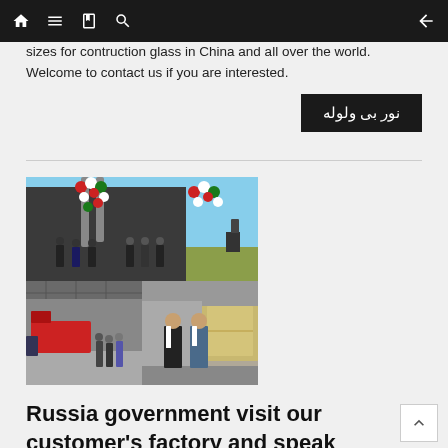Navigation bar with home, menu, book, search icons and back arrow
sizes for contruction glass in China and all over the world. Welcome to contact us if you are interested.
نور بی ولوله
[Figure (photo): Collage of photos showing a factory visit: top photo shows people gathered outside a large industrial building decorated with balloon arches in red, white, and green; bottom-left photo shows people inside a factory floor with machinery; bottom-right photo shows two men in suits standing inside a warehouse.]
Russia government visit our customer's factory and speak highly of our products